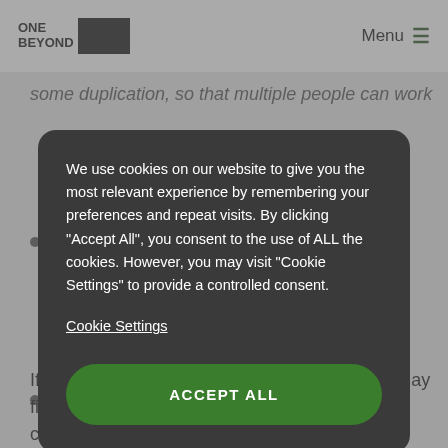ONE BEYOND | Menu
some duplication, so that multiple people can work
We use cookies on our website to give you the most relevant experience by remembering your preferences and repeat visits. By clicking “Accept All”, you consent to the use of ALL the cookies. However, you may visit “Cookie Settings” to provide a controlled consent.
Cookie Settings
ACCEPT ALL
If you keep an eye on these suggestions, you may find that building your own can work out much cheaper